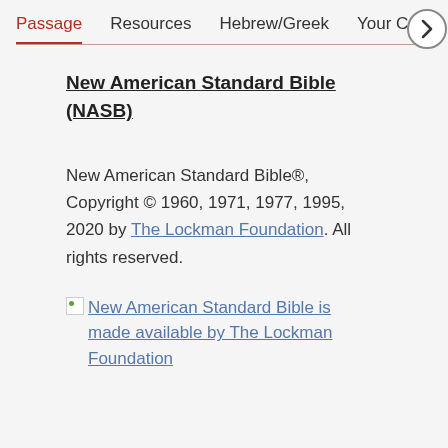Passage   Resources   Hebrew/Greek   Your Cont…
New American Standard Bible (NASB)
New American Standard Bible®, Copyright © 1960, 1971, 1977, 1995, 2020 by The Lockman Foundation. All rights reserved.
[Figure (other): Broken image icon linked to 'New American Standard Bible is made available by The Lockman Foundation']